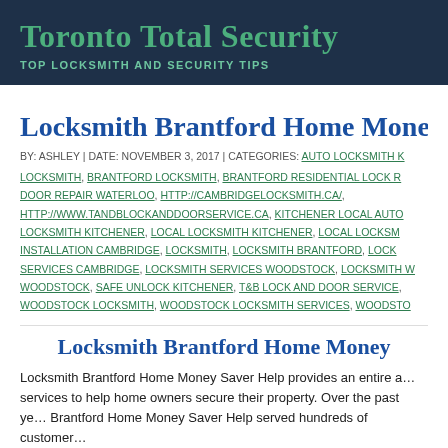Toronto Total Security
TOP LOCKSMITH AND SECURITY TIPS
Locksmith Brantford Home Money…
BY: ASHLEY | DATE: NOVEMBER 3, 2017 | CATEGORIES: AUTO LOCKSMITH K… LOCKSMITH, BRANTFORD LOCKSMITH, BRANTFORD RESIDENTIAL LOCK R… DOOR REPAIR WATERLOO, HTTP://CAMBRIDGELOCKSMITH.CA/, HTTP://WWW.TANDBLOCKANDDOORSERVICE.CA, KITCHENER LOCAL AUTO… LOCKSMITH KITCHENER, LOCAL LOCKSMITH KITCHENER, LOCAL LOCKSM… INSTALLATION CAMBRIDGE, LOCKSMITH, LOCKSMITH BRANTFORD, LOCK… SERVICES CAMBRIDGE, LOCKSMITH SERVICES WOODSTOCK, LOCKSMITH W… WOODSTOCK, SAFE UNLOCK KITCHENER, T&B LOCK AND DOOR SERVICE,… WOODSTOCK LOCKSMITH, WOODSTOCK LOCKSMITH SERVICES, WOODSTO…
Locksmith Brantford Home Money…
Locksmith Brantford Home Money Saver Help provides an entire a… services to help home owners secure their property. Over the past ye… Brantford Home Money Saver Help served hundreds of customer…